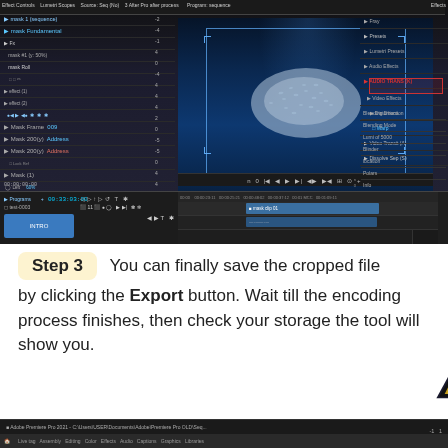[Figure (screenshot): Adobe Premiere Pro interface showing Effect Controls panel, Program Monitor with underwater fish footage, Effect Controls, timeline with video tracks, and a panel on the right side showing Video Effects/Transitions hierarchy.]
Step 3   You can finally save the cropped file by clicking the Export button. Wait till the encoding process finishes, then check your storage the tool will show you.
[Figure (screenshot): AVAide cookie consent banner overlay partially covering text, with AVAide logo triangle icon, Accept button, and Privacy Policy link. Partially visible bottom taskbar of Adobe Premiere Pro.]